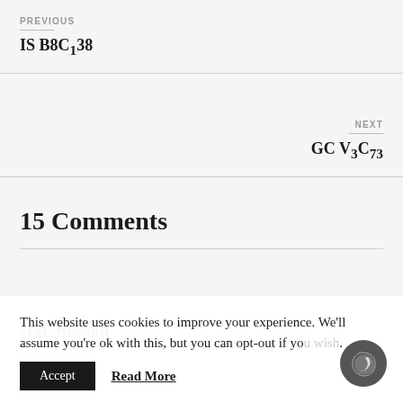PREVIOUS
IS B8C138
NEXT
GC V3C73
15 Comments
GM_Rusaku
This website uses cookies to improve your experience. We'll assume you're ok with this, but you can opt-out if yo...
Accept
Read More